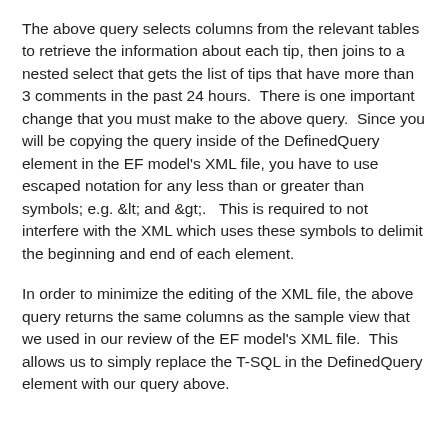The above query selects columns from the relevant tables to retrieve the information about each tip, then joins to a nested select that gets the list of tips that have more than 3 comments in the past 24 hours.  There is one important change that you must make to the above query.  Since you will be copying the query inside of the DefinedQuery element in the EF model's XML file, you have to use escaped notation for any less than or greater than symbols; e.g. &lt; and &gt;.   This is required to not interfere with the XML which uses these symbols to delimit the beginning and end of each element.
In order to minimize the editing of the XML file, the above query returns the same columns as the sample view that we used in our review of the EF model's XML file.  This allows us to simply replace the T-SQL in the DefinedQuery element with our query above.